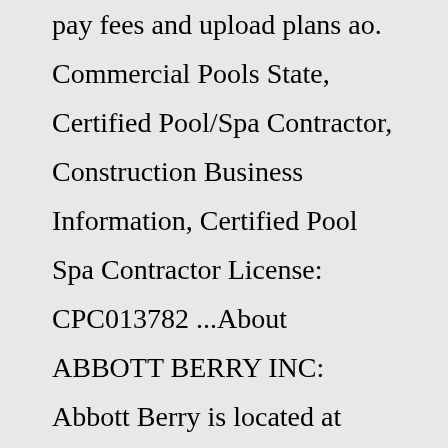pay fees and upload plans ao. Commercial Pools State, Certified Pool/Spa Contractor, Construction Business Information, Certified Pool Spa Contractor License: CPC013782 ...About ABBOTT BERRY INC: Abbott Berry is located at 1706 Us Highway 70 E Ste B in New Bern, NC - Craven County and is a business listed in the category Sales Promotion Service. After you do business with ABBOTT BERRY